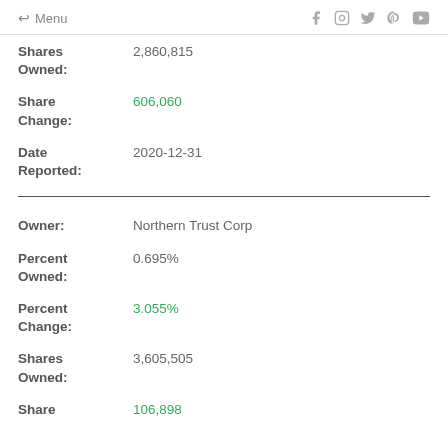Menu
Shares Owned: 2,860,815
Share Change: 606,060
Date Reported: 2020-12-31
Owner: Northern Trust Corp
Percent Owned: 0.695%
Percent Change: 3.055%
Shares Owned: 3,605,505
Share 106,898